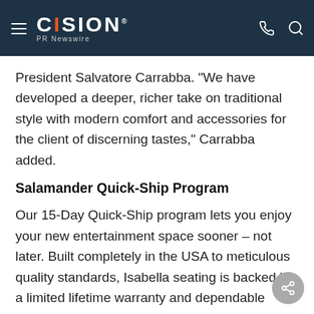CISION PR Newswire
President Salvatore Carrabba. "We have developed a deeper, richer take on traditional style with modern comfort and accessories for the client of discerning tastes," Carrabba added.
Salamander Quick-Ship Program
Our 15-Day Quick-Ship program lets you enjoy your new entertainment space sooner – not later. Built completely in the USA to meticulous quality standards, Isabella seating is backed by a limited lifetime warranty and dependable customer serv…